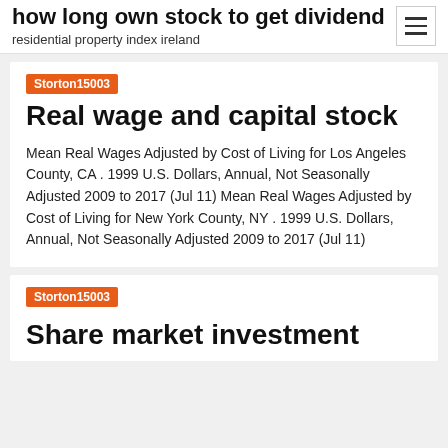how long own stock to get dividend
residential property index ireland
Storton15003
Real wage and capital stock
Mean Real Wages Adjusted by Cost of Living for Los Angeles County, CA . 1999 U.S. Dollars, Annual, Not Seasonally Adjusted 2009 to 2017 (Jul 11) Mean Real Wages Adjusted by Cost of Living for New York County, NY . 1999 U.S. Dollars, Annual, Not Seasonally Adjusted 2009 to 2017 (Jul 11)
Storton15003
Share market investment